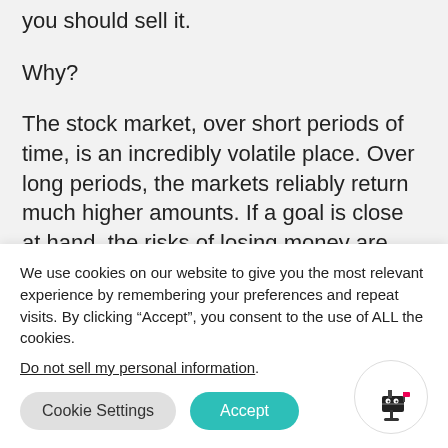you should sell it.
Why?
The stock market, over short periods of time, is an incredibly volatile place. Over long periods, the markets reliably return much higher amounts. If a goal is close at hand, the risks of losing money are high if you’re in
We use cookies on our website to give you the most relevant experience by remembering your preferences and repeat visits. By clicking “Accept”, you consent to the use of ALL the cookies.
Do not sell my personal information.
Cookie Settings
Accept